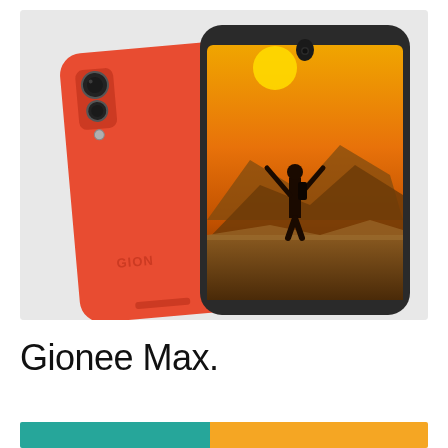[Figure (photo): Product photo of a Gionee Max smartphone shown from the back (red/orange color with dual camera and Gionee logo) and from the front (showing a man standing on a rock with arms raised against a golden sky wallpaper), displayed against a light gray background.]
Gionee Max.
[Figure (infographic): Two colored bars side by side at the bottom: a teal/green bar on the left and an orange bar on the right, likely representing a comparison or feature overview section header.]